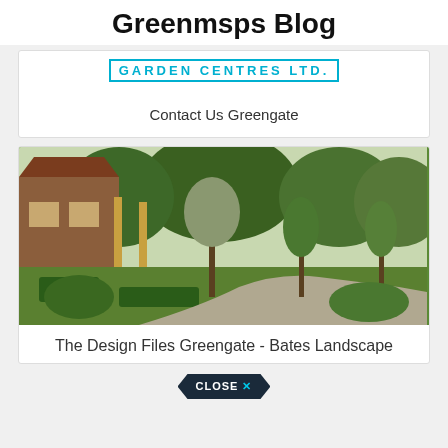Greenmsps Blog
[Figure (logo): Greengate Garden Centres Ltd. logo in cyan/teal uppercase lettering with border]
Contact Us Greengate
[Figure (photo): Garden landscape photo showing a path winding through lush green trees and hedges with a building structure on the left]
The Design Files Greengate - Bates Landscape